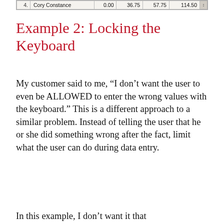[Figure (screenshot): Screenshot of a spreadsheet/table row showing: 4. Cory Constance | 0.00 | 36.75 | 57.75 | 114.50 with a scrollbar on the right.]
Example 2: Locking the Keyboard
My customer said to me, “I don’t want the user to even be ALLOWED to enter the wrong values with the keyboard.” This is a different approach to a similar problem. Instead of telling the user that he or she did something wrong after the fact, limit what the user can do during data entry.
In this example, I don’t want it that